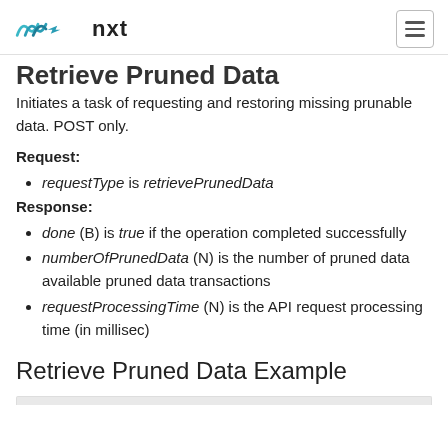nxt
Retrieve Pruned Data
Initiates a task of requesting and restoring missing prunable data. POST only.
Request:
requestType is retrievePrunedData
Response:
done (B) is true if the operation completed successfully
numberOfPrunedData (N) is the number of pruned data available pruned data transactions
requestProcessingTime (N) is the API request processing time (in millisec)
Retrieve Pruned Data Example